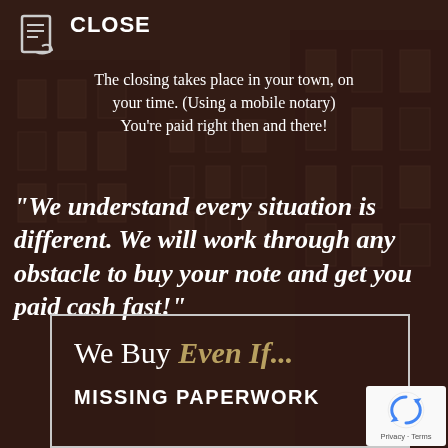CLOSE
The closing takes place in your town, on your time. (Using a mobile notary) You're paid right then and there!
“We understand every situation is different. We will work through any obstacle to buy your note and get you paid cash fast!”
We Buy Even If...
MISSING PAPERWORK
[Figure (logo): reCAPTCHA badge with Privacy and Terms links]